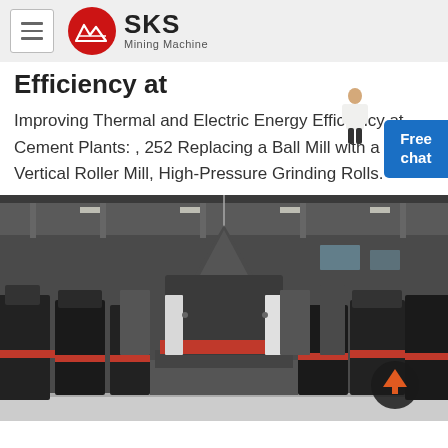SKS Mining Machine
Efficiency at
Improving Thermal and Electric Energy Efficiency at Cement Plants: , 252 Replacing a Ball Mill with a Vertical Roller Mill, High-Pressure Grinding Rolls.
[Figure (photo): Industrial factory floor with large black and red mining/grinding machines arranged in rows inside a large warehouse facility.]